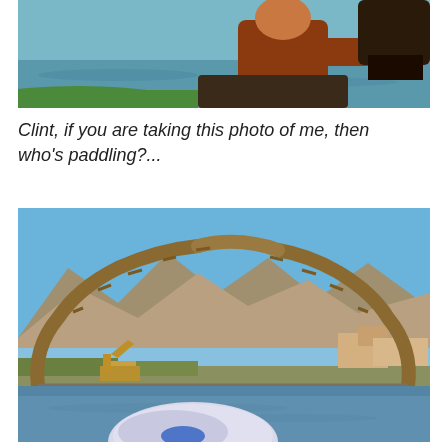[Figure (photo): Top portion of a photo showing a person in a kayak on water, viewed from behind, with a green kayak edge visible]
Clint, if you are taking this photo of me, then who’s paddling?...
[Figure (photo): Photo of an arched wooden bridge under construction over a body of water, with desert mountains in the background and a paddleboard visible in the foreground]